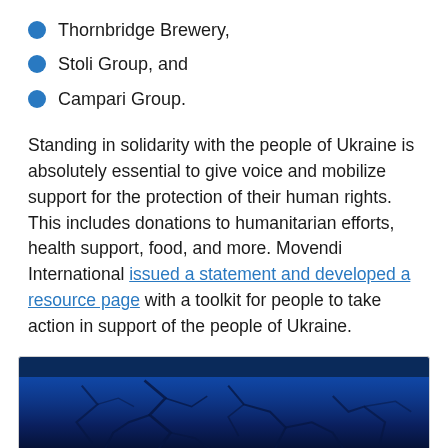Thornbridge Brewery,
Stoli Group, and
Campari Group.
Standing in solidarity with the people of Ukraine is absolutely essential to give voice and mobilize support for the protection of their human rights. This includes donations to humanitarian efforts, health support, food, and more. Movendi International issued a statement and developed a resource page with a toolkit for people to take action in support of the people of Ukraine.
[Figure (photo): Blue cracked earth or map texture with dark blue tones, shown in a bordered image box at the bottom of the page.]